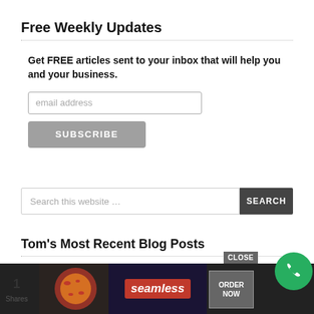Free Weekly Updates
Get FREE articles sent to your inbox that will help you and your business.
email address
SUBSCRIBE
Search this website …
SEARCH
Tom's Most Recent Blog Posts
6 Things To Consider When Comparing Your Home To Recent Neighborhood Sales
1 Shares
[Figure (screenshot): Advertisement banner showing a pizza image, Seamless logo with red background, ORDER NOW button, CLOSE button, and a green phone call button]
CLOSE
ORDER NOW